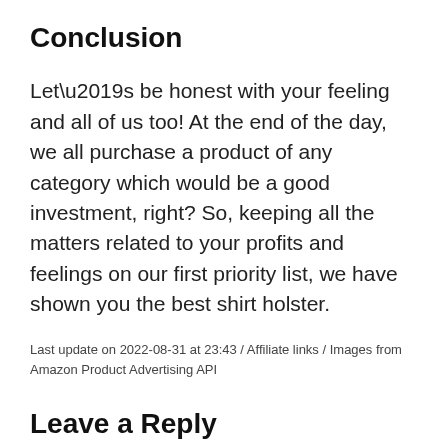Conclusion
Let’s be honest with your feeling and all of us too! At the end of the day, we all purchase a product of any category which would be a good investment, right? So, keeping all the matters related to your profits and feelings on our first priority list, we have shown you the best shirt holster.
Last update on 2022-08-31 at 23:43 / Affiliate links / Images from Amazon Product Advertising API
Leave a Reply